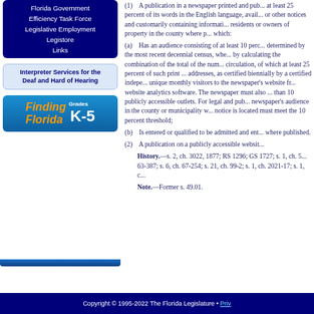Florida Government
Efficiency Task Force
Legislative Employment
Legistore
Links
[Figure (other): Interpreter Services for the Deaf and Hard of Hearing box]
[Figure (other): Finding Florida Grades K-5 banner]
(1) A publication in a newspaper printed and published with at least 25 percent of its words in the English language, available to residents or owners of property in the county where published, which:
(a) Has an audience consisting of at least 10 percent, as determined by the most recent decennial census, where applicable, by calculating the combination of the total of the number of print circulation, of which at least 25 percent of such print circulation addresses, as certified biennially by a certified independent auditor, unique monthly visitors to the newspaper's website from within, website analytics software. The newspaper must also be available than 10 publicly accessible outlets. For legal and pub newspaper's audience in the county or municipality where notice is located must meet the 10 percent threshold;
(b) Is entered or qualified to be admitted and entered where published.
(2) A publication on a publicly accessible website
History.—s. 2, ch. 3022, 1877; RS 1296; GS 1727; s. 1, ch. 63-387; s. 6, ch. 67-254; s. 21, ch. 99-2; s. 1, ch. 2021-17; s. 1, c
Note.—Former s. 49.01.
Copyright © 1995-2022 The Florida Legislature • Priv